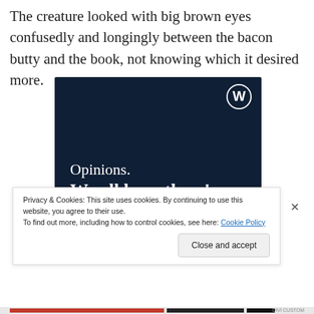The creature looked with big brown eyes confusedly and longingly between the bacon butty and the book, not knowing which it desired more.
[Figure (illustration): WordPress advertisement banner with dark navy background. Shows WordPress logo (W in circle) in top right, text 'Opinions. We all have them!' in white serif font, a pink/red button at bottom left, and a white circle at bottom right.]
Privacy & Cookies: This site uses cookies. By continuing to use this website, you agree to their use.
To find out more, including how to control cookies, see here: Cookie Policy
Close and accept